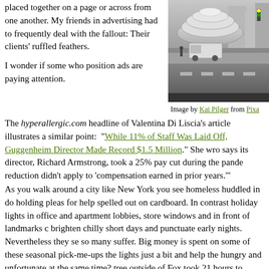placed together on a page or across from one another. My friends in advertising had to frequently deal with the fallout: Their clients' ruffled feathers.
I wonder if some who position ads are paying attention.
[Figure (photo): Black and white photo of the Guggenheim Museum in New York City, with a street scene showing vehicles and pedestrians]
Image by Kai Pilger from Pixa
The hyperallergic.com headline of Valentina Di Liscia's article illustrates a similar point: “While 11% of Staff Was Laid Off, Guggenheim Director Made Record $1.5 Million.” She wro says its director, Richard Armstrong, took a 25% pay cut during the pande reduction didn’t apply to ‘compensation earned in prior years.’”
As you walk around a city like New York you see homeless huddled in do holding pleas for help spelled out on cardboard. In contrast holiday lights in office and apartment lobbies, store windows and in front of landmarks brighten chilly short days and punctuate early nights. Nevertheless they se so many suffer. Big money is spent on some of these seasonal pick-me-ups the lights just a bit and help the hungry and unfortunate at the same time? tree outside of Fox took 21 hours to install and had 10,000 glass ornament lights. News reports estimated the damage–a mentally ill homeless person